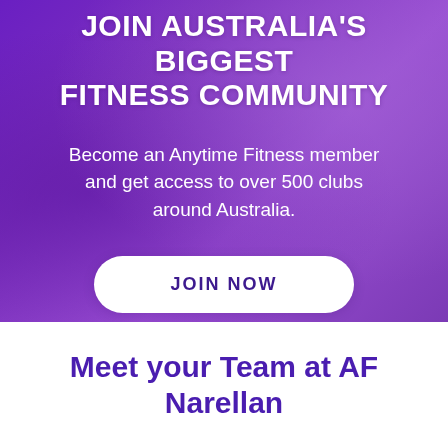[Figure (photo): Purple-tinted background image of a smiling woman in athletic wear at a gym, with a purple gradient overlay covering the hero section]
JOIN AUSTRALIA'S BIGGEST FITNESS COMMUNITY
Become an Anytime Fitness member and get access to over 500 clubs around Australia.
JOIN NOW
Meet your Team at AF Narellan